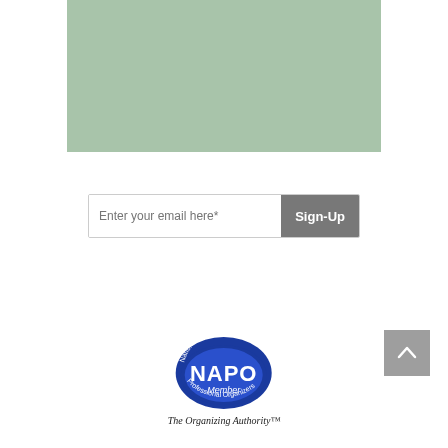[Figure (other): Sage green banner/image placeholder at the top center of the page]
[Figure (other): Email sign-up form with text input 'Enter your email here*' and a grey 'Sign-Up' button]
[Figure (other): Back-to-top button, grey square with white upward-pointing chevron arrow, bottom right]
[Figure (logo): NAPO (National Association of Professional Organizers) Member logo with tagline 'The Organizing Authority']